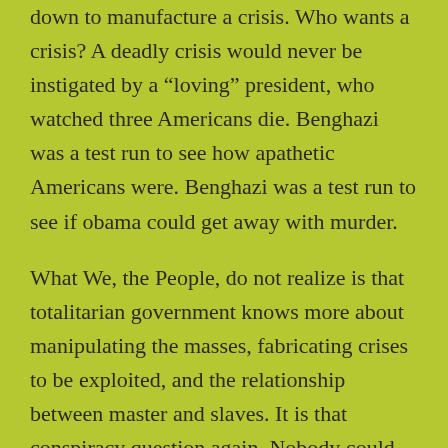down to manufacture a crisis. Who wants a crisis? A deadly crisis would never be instigated by a “loving” president, who watched three Americans die. Benghazi was a test run to see how apathetic Americans were. Benghazi was a test run to see if obama could get away with murder.
What We, the People, do not realize is that totalitarian government knows more about manipulating the masses, fabricating crises to be exploited, and the relationship between master and slaves. It is that conspiracy question again. Nobody could do these things to others, especially in America. Are there no pscyhos in America?
We, the People, understood that obama and the white whorehouse could finally get away with murder when